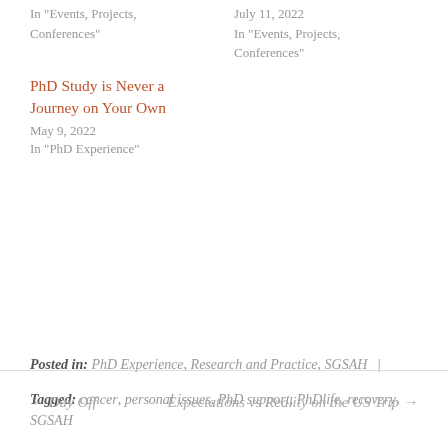In "Events, Projects, Conferences"
July 11, 2022
In "Events, Projects, Conferences"
PhD Study is Never a Journey on Your Own
May 9, 2022
In "PhD Experience"
Posted in: PhD Experience, Research and Practice, SGSAH | Tagged: cancer, personal issues, PhD support, PhDlife, recovery, SGSAH
← Day Off
Expectations vs Reality on the US Trip →